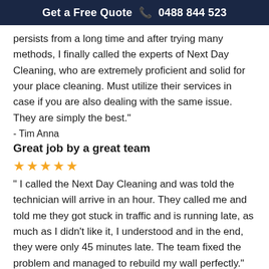Get a Free Quote ☎ 0488 844 523
persists from a long time and after trying many methods, I finally called the experts of Next Day Cleaning, who are extremely proficient and solid for your place cleaning. Must utilize their services in case if you are also dealing with the same issue. They are simply the best."
- Tim Anna
Great job by a great team
★★★★★
“ I called the Next Day Cleaning and was told the technician will arrive in an hour. They called me and told me they got stuck in traffic and is running late, as much as I didn’t like it, I understood and in the end, they were only 45 minutes late. The team fixed the problem and managed to rebuild my wall perfectly."
- James Emily